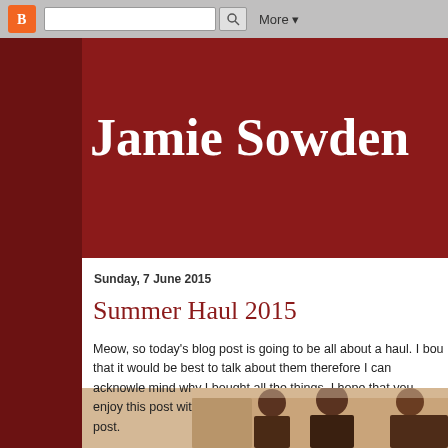More ▾
Jamie Sowden
Sunday, 7 June 2015
Summer Haul 2015
Meow, so today's blog post is going to be all about a haul. I bou that it would be best to talk about them therefore I can acknowle mind why I bought all the things. I hope that you enjoy this post with this which I shall link at the bottom of this post.
[Figure (photo): Photo of two men in a bright indoor setting, partially cropped at bottom of page]